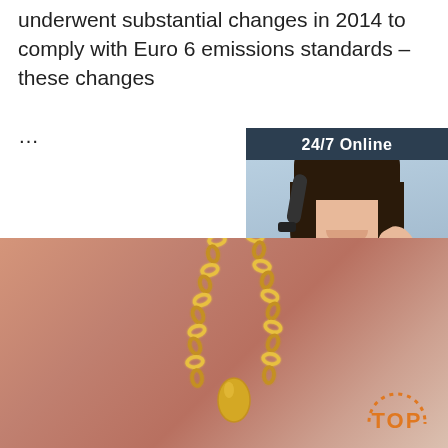underwent substantial changes in 2014 to comply with Euro 6 emissions standards – these changes …
[Figure (other): Orange 'Get Price' button]
[Figure (other): 24/7 Online chat widget with a photo of a female customer support agent wearing a headset, a 'Click here for free chat!' message, and an orange 'QUOTATION' button]
[Figure (photo): Close-up photo of a gold chain necklace with a small pendant against a peach/skin-toned background, with an orange 'TOP' badge in the bottom right]
[Figure (other): Orange and white 'TOP' badge with dotted arc above the text]